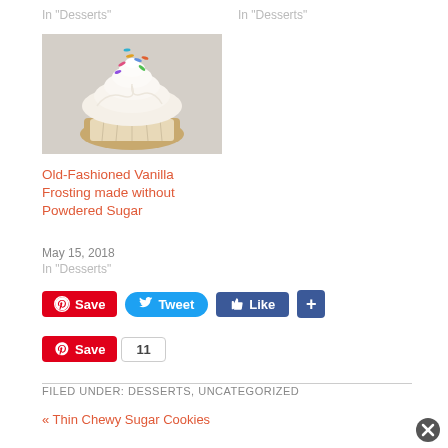In "Desserts"
In "Desserts"
[Figure (photo): A cupcake with white swirled frosting topped with colorful sprinkles]
Old-Fashioned Vanilla Frosting made without Powdered Sugar
May 15, 2018
In "Desserts"
[Figure (other): Social sharing buttons row 1: Pinterest Save, Tweet, Facebook Like, plus button]
[Figure (other): Social sharing buttons row 2: Pinterest Save with count 11]
FILED UNDER: DESSERTS, UNCATEGORIZED
« Thin Chewy Sugar Cookies